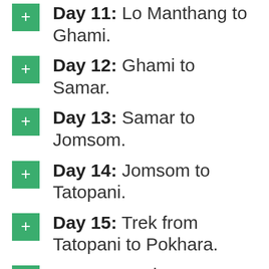Day 11: Lo Manthang to Ghami.
Day 12: Ghami to Samar.
Day 13: Samar to Jomsom.
Day 14: Jomsom to Tatopani.
Day 15: Trek from Tatopani to Pokhara.
Day 16: Back to Kathmandu from Pokhara.